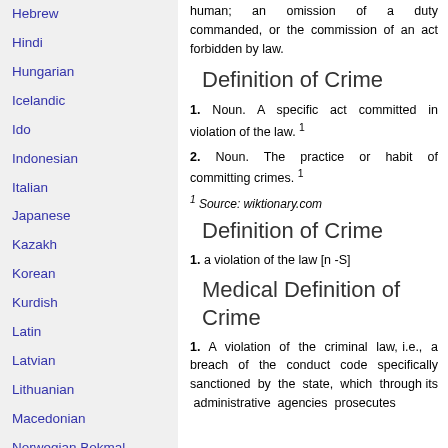Hebrew
Hindi
Hungarian
Icelandic
Ido
Indonesian
Italian
Japanese
Kazakh
Korean
Kurdish
Latin
Latvian
Lithuanian
Macedonian
Norwegian Bokmal
Persian
Polish
Portuguese
human; an omission of a duty commanded, or the commission of an act forbidden by law.
Definition of Crime
1. Noun. A specific act committed in violation of the law. ¹
2. Noun. The practice or habit of committing crimes. ¹
¹ Source: wiktionary.com
Definition of Crime
1. a violation of the law [n -S]
Medical Definition of Crime
1. A violation of the criminal law, i.e., a breach of the conduct code specifically sanctioned by the state, which through its administrative agencies prosecutes